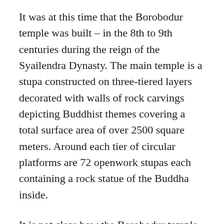It was at this time that the Borobodur temple was built – in the 8th to 9th centuries during the reign of the Syailendra Dynasty. The main temple is a stupa constructed on three-tiered layers decorated with walls of rock carvings depicting Buddhist themes covering a total surface area of over 2500 square meters. Around each tier of circular platforms are 72 openwork stupas each containing a rock statue of the Buddha inside.
It is not clear how the Borobodur temple was lost to the world for centuries until in the 19th century an European Governor of Java rediscovered it. It is believed that the temple was covered by a lava flow from a close by